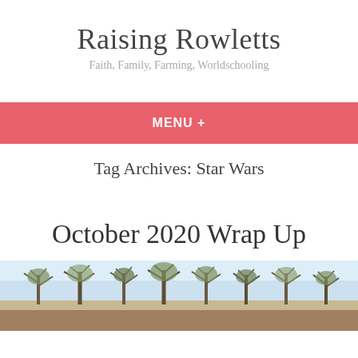Raising Rowletts
Faith, Family, Farming, Worldschooling
MENU +
Tag Archives: Star Wars
October 2020 Wrap Up
[Figure (photo): A wide landscape photo showing a row of bare and semi-bare trees against a pale sky, with flat farmland terrain in the background.]